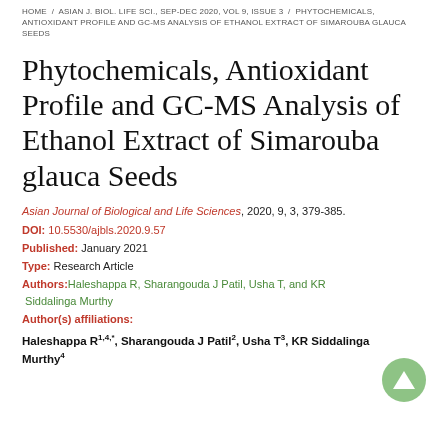HOME / ASIAN J. BIOL. LIFE SCI., SEP-DEC 2020, VOL 9, ISSUE 3 / PHYTOCHEMICALS, ANTIOXIDANT PROFILE AND GC-MS ANALYSIS OF ETHANOL EXTRACT OF SIMAROUBA GLAUCA SEEDS
Phytochemicals, Antioxidant Profile and GC-MS Analysis of Ethanol Extract of Simarouba glauca Seeds
Asian Journal of Biological and Life Sciences, 2020, 9, 3, 379-385.
DOI: 10.5530/ajbls.2020.9.57
Published: January 2021
Type: Research Article
Authors: Haleshappa R, Sharangouda J Patil, Usha T, and KR Siddalinga Murthy
Author(s) affiliations:
Haleshappa R1,4,*, Sharangouda J Patil2, Usha T3, KR Siddalinga Murthy4